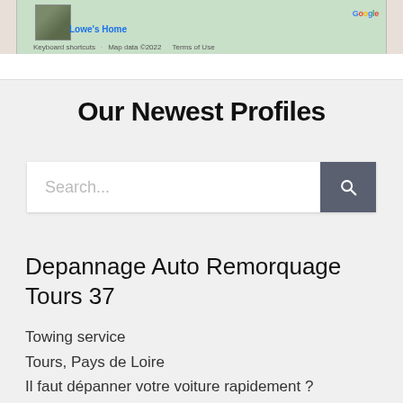[Figure (screenshot): Partial Google Maps screenshot showing a map view with Lowe's Home visible, and footer text: Keyboard shortcuts, Map data ©2022, Terms of Use]
Our Newest Profiles
[Figure (screenshot): Search bar with placeholder text 'Search...' and a dark gray search button with magnifying glass icon]
Depannage Auto Remorquage Tours 37
Towing service
Tours, Pays de Loire
Il faut dépanner votre voiture rapidement ?